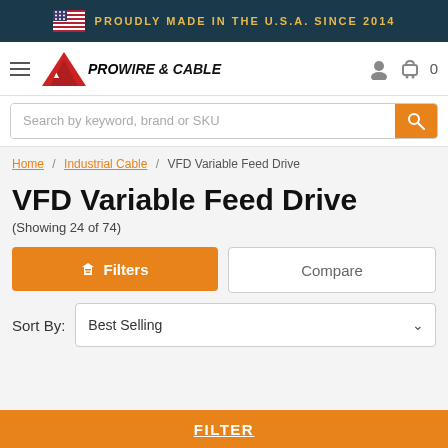PROUDLY MADE IN THE U.S.A. SINCE 2014
[Figure (logo): Pro Wire & Cable logo with red triangle and italic text]
Search by keyword, brand or SKU
Home / Industrial Cable / VFD Variable Feed Drive
VFD Variable Feed Drive
(Showing 24 of 74)
Filters
Compare
Sort By: Best Selling
FILTER